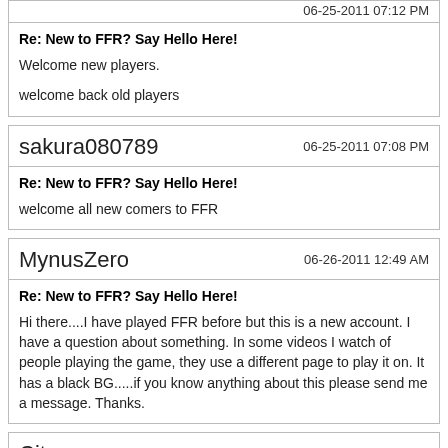Re: New to FFR? Say Hello Here!
Welcome new players.
welcome back old players
sakura080789 — 06-25-2011 07:08 PM
Re: New to FFR? Say Hello Here!
welcome all new comers to FFR
MynusZero — 06-26-2011 12:49 AM
Re: New to FFR? Say Hello Here!
Hi there....I have played FFR before but this is a new account. I have a question about something. In some videos I watch of people playing the game, they use a different page to play it on. It has a black BG.....if you know anything about this please send me a message. Thanks.
Citroen — 06-26-2011 06:15 PM
Re: New to FFR? Say Hello Here!